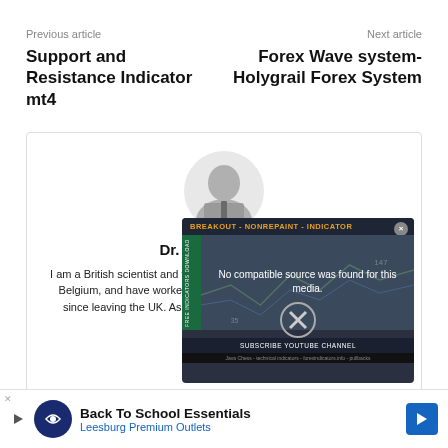Previous article
Next article
Support and Resistance Indicator mt4
Forex Wave system-Holygrail Forex System
[Figure (photo): Author photo and profile card for Dr. Mike Campbell with overlaid video player showing 'No compatible source was found for this media.' message and a breakout nonrepaint indicator advertisement]
Dr. Mike Campbell
I am a British scientist and freelance writer. I got my doctorate in Ghent, Belgium, and have worked in Belgium, France, Monaco, and Austria since leaving the UK. As a writer, I specialize in business, science, media...
[Figure (screenshot): Advertisement banner: Back To School Essentials - Leesburg Premium Outlets]